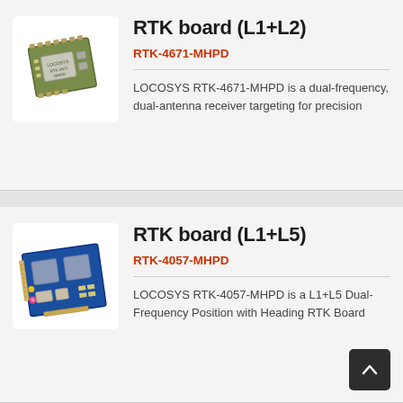[Figure (photo): RTK-4671-MHPD PCB board, green circuit board with chip and connector pads, shown at slight angle on white background]
RTK board (L1+L2)
RTK-4671-MHPD
LOCOSYS RTK-4671-MHPD is a dual-frequency, dual-antenna receiver targeting for precision
[Figure (photo): RTK-4057-MHPD PCB board, blue circuit board with two large modules, LED components and connectors, shown at slight angle on white background]
RTK board (L1+L5)
RTK-4057-MHPD
LOCOSYS RTK-4057-MHPD is a L1+L5 Dual-Frequency Position with Heading RTK Board